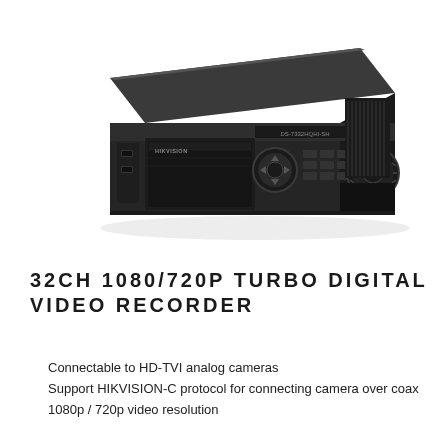[Figure (photo): Hikvision 32-channel DVR unit shown in perspective/angled view. Black rack-mount style digital video recorder with front panel controls including navigation buttons, a dial/jog wheel, and USB ports on the left side. The Hikvision logo is visible on the front panel.]
32CH 1080/720P TURBO DIGITAL VIDEO RECORDER
Connectable to HD-TVI analog cameras
Support HIKVISION-C protocol for connecting camera over coax
1080p / 720p video resolution